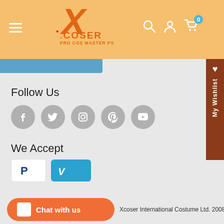[Figure (logo): Xcoser logo with orange X and COSER text on orange/yellow background header]
[Figure (illustration): Social media icons: Facebook, Twitter, Instagram, Pinterest, YouTube — grey circles]
Follow Us
We Accept
[Figure (illustration): Payment icons: PayPal and Venmo]
Chat with us
Xcoser International Costume Ltd. 2008-2022